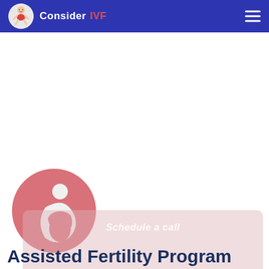Consider IVF
[Figure (logo): Consider IVF logo with crawling baby icon, white text 'Consider' and red text 'IVF' on blue background header bar]
[Figure (illustration): Pink circular icon with a stylized white figure representing a pregnant woman or mother and child symbol]
Schedule a call
Assisted Fertility Program
Make an appointment